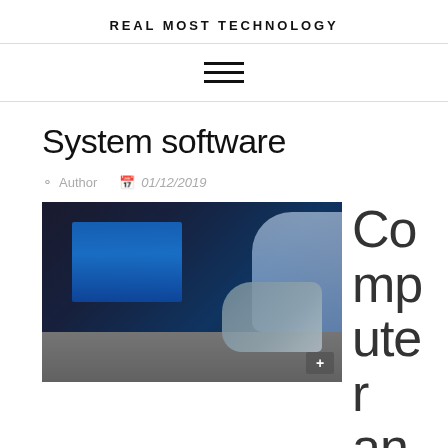REAL MOST TECHNOLOGY
[Figure (other): Hamburger menu icon (three horizontal lines)]
System software
Author  01/12/2019
[Figure (photo): Person using a laptop with Windows 10 screen visible]
Computer and